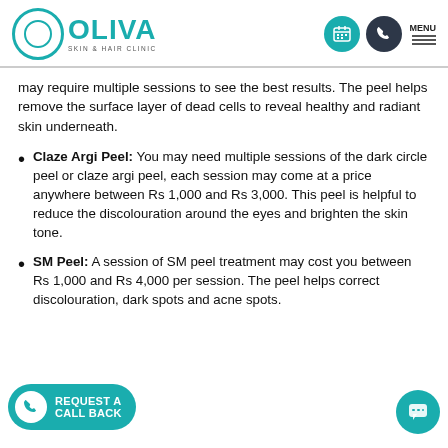OLIVA SKIN & HAIR CLINIC
may require multiple sessions to see the best results. The peel helps remove the surface layer of dead cells to reveal healthy and radiant skin underneath.
Claze Argi Peel: You may need multiple sessions of the dark circle peel or claze argi peel, each session may come at a price anywhere between Rs 1,000 and Rs 3,000. This peel is helpful to reduce the discolouration around the eyes and brighten the skin tone.
SM Peel: A session of SM peel treatment may cost you between Rs 1,000 and Rs 4,000 per session. The peel helps correct discolouration, dark spots and acne spots.